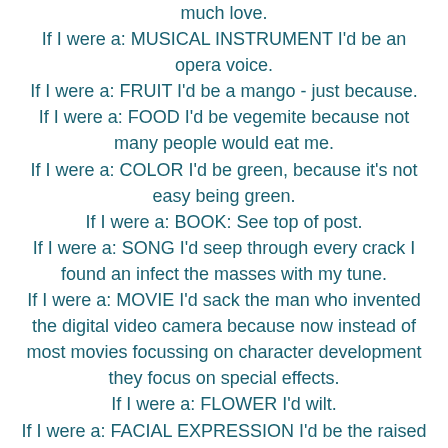much love.
If I were a: MUSICAL INSTRUMENT I'd be an opera voice.
If I were a: FRUIT I'd be a mango - just because.
If I were a: FOOD I'd be vegemite because not many people would eat me.
If I were a: COLOR I'd be green, because it's not easy being green.
If I were a: BOOK: See top of post.
If I were a: SONG I'd seep through every crack I found an infect the masses with my tune.
If I were a: MOVIE I'd sack the man who invented the digital video camera because now instead of most movies focussing on character development they focus on special effects.
If I were a: FLOWER I'd wilt.
If I were a: FACIAL EXPRESSION I'd be the raised eyebrow because life is confusing sometimes.

And I'm not tagging back because there are plenty of other people tagging!

PS: The first prize winner, layla418, of my contest